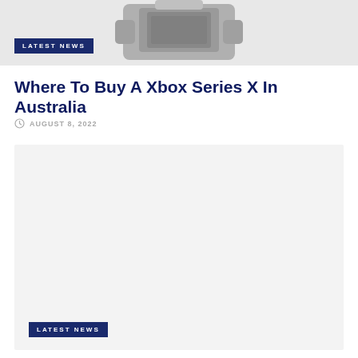[Figure (photo): Partial image of an Xbox Series X console in gray/silver tones at top of page]
LATEST NEWS
Where To Buy A Xbox Series X In Australia
AUGUST 8, 2022
[Figure (photo): Large light gray placeholder image area for second article card]
LATEST NEWS